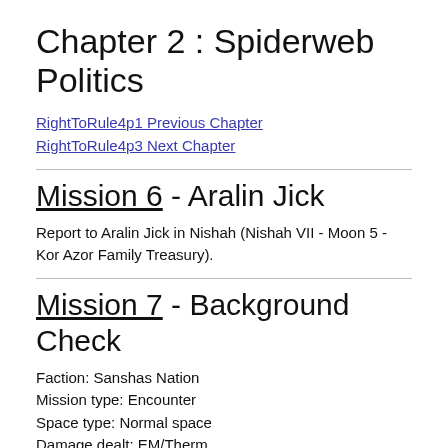Chapter 2 : Spiderweb Politics
RightToRule4p1 Previous Chapter
RightToRule4p3 Next Chapter
Mission 6 - Aralin Jick
Report to Aralin Jick in Nishah (Nishah VII - Moon 5 - Kor Azor Family Treasury).
Mission 7 - Background Check
Faction: Sanshas Nation
Mission type: Encounter
Space type: Normal space
Damage dealt: EM/Therm
Web/Scramble: Elite frigates
Extras: NA
Recommended damage dealing: EM (best), Therm (secondary)